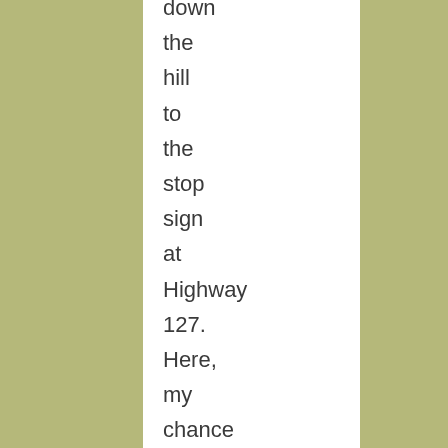down the hill to the stop sign at Highway 127. Here, my chance of completing the 508 would be made clear. The